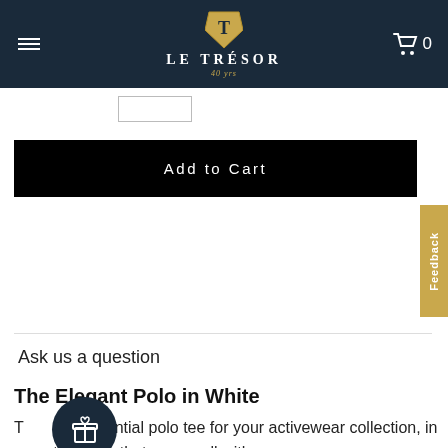LE TRÉSOR
[Figure (screenshot): Add to Cart black button]
Feedback
Ask us a question
The Elegant Polo in White
The essential polo tee for your activewear collection, in versatile white that goes well with